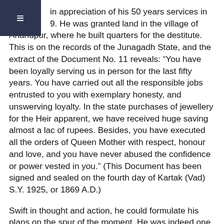≡
in appreciation of his 50 years services in 9. He was granted land in the village of Anandpur, where he built quarters for the destitute. This is on the records of the Junagadh State, and the extract of the Document No. 11 reveals: “You have been loyally serving us in person for the last fifty years. You have carried out all the responsible jobs entrusted to you with exemplary honesty, and unswerving loyalty. In the state purchases of jewellery for the Heir apparent, we have received huge saving almost a lac of rupees. Besides, you have executed all the orders of Queen Mother with respect, honour and love, and you have never abused the confidence or power vested in you.” (This Document has been signed and sealed on the fourth day of Kartak (Vad) S.Y. 1925, or 1869 A.D.)
Swift in thought and action, he could formulate his plans on the spur of the moment. He was indeed one of the principal and accomplished the era with